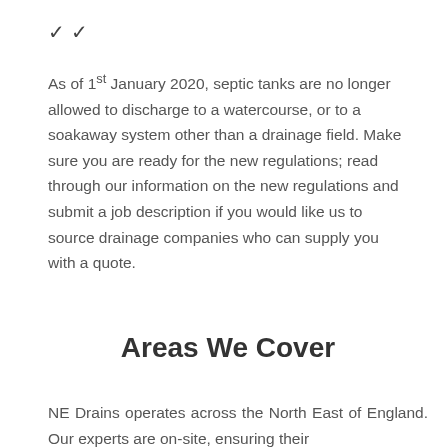✓
As of 1st January 2020, septic tanks are no longer allowed to discharge to a watercourse, or to a soakaway system other than a drainage field. Make sure you are ready for the new regulations; read through our information on the new regulations and submit a job description if you would like us to source drainage companies who can supply you with a quote.
Areas We Cover
NE Drains operates across the North East of England. Our experts are on-site, ensuring their